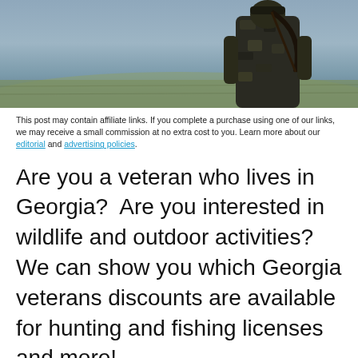[Figure (photo): A person wearing camouflage gear and carrying hunting equipment, viewed from behind, standing in an outdoor field with a grey/misty background.]
This post may contain affiliate links. If you complete a purchase using one of our links, we may receive a small commission at no extra cost to you. Learn more about our editorial and advertising policies.
Are you a veteran who lives in Georgia?  Are you interested in wildlife and outdoor activities?  We can show you which Georgia veterans discounts are available for hunting and fishing licenses and more!
Advertisements